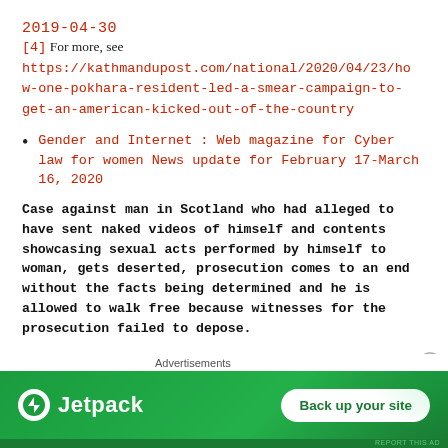2019-04-30
[4] For more, see https://kathmandupost.com/national/2020/04/23/how-one-pokhara-resident-led-a-smear-campaign-to-get-an-american-kicked-out-of-the-country
Gender and Internet : Web magazine for Cyber law for women News update for February 17-March 16, 2020
Case against man in Scotland who had alleged to have sent naked videos of himself and contents showcasing sexual acts performed by himself to woman, gets deserted, prosecution comes to an end without the facts being determined and he is allowed to walk free because witnesses for the prosecution failed to depose.
[Figure (other): Jetpack advertisement banner with green background, Jetpack logo on left and 'Back up your site' button on right]